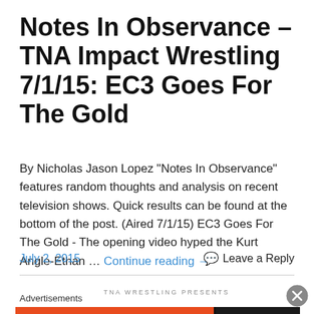Notes In Observance – TNA Impact Wrestling 7/1/15: EC3 Goes For The Gold
By Nicholas Jason Lopez "Notes In Observance" features random thoughts and analysis on recent television shows. Quick results can be found at the bottom of the post. (Aired 7/1/15) EC3 Goes For The Gold  - The opening video hyped the Kurt Angle-Ethan … Continue reading →
July 2, 2015
Leave a Reply
TNA WRESTLING PRESENTS
Advertisements
[Figure (screenshot): DuckDuckGo advertisement banner: orange background with text 'Search, browse, and email with more privacy. All in One Free App' and DuckDuckGo logo on dark background]